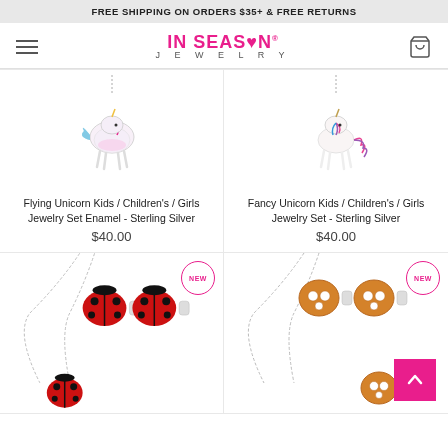FREE SHIPPING ON ORDERS $35+ & FREE RETURNS
[Figure (logo): In Season Jewelry logo with hamburger menu and cart icon]
[Figure (photo): Flying Unicorn Kids/Children's/Girls Jewelry Set Enamel charm on necklace]
Flying Unicorn Kids / Children's / Girls Jewelry Set Enamel - Sterling Silver
$40.00
[Figure (photo): Fancy Unicorn Kids/Children's/Girls Jewelry Set Sterling Silver charm on necklace]
Fancy Unicorn Kids / Children's / Girls Jewelry Set - Sterling Silver
$40.00
[Figure (photo): Ladybug earrings and necklace set, NEW badge, red enamel ladybug jewelry]
[Figure (photo): Pretzel earrings and necklace set, NEW badge, gold tone pretzel jewelry]